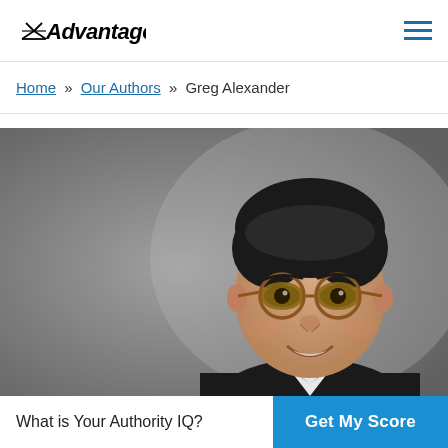Advantage [logo] — hamburger menu
Home » Our Authors » Greg Alexander
[Figure (photo): Professional headshot of Greg Alexander, a man with dark hair, round tortoiseshell glasses, wearing a dark suit, smiling against a gray gradient background.]
What is Your Authority IQ?
Get My Score